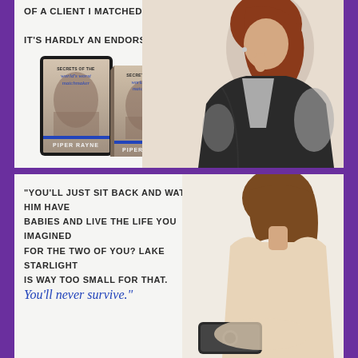OF A CLIENT I MATCHED. IT'S HARDLY AN ENDORSEMENT."
[Figure (photo): Book covers for 'Secrets of the World's Worst Matchmaker' by Piper Rayne — a tablet device showing the cover and a print copy beside it, with the title text floating nearby]
[Figure (photo): Woman with red/auburn hair wearing a dark coat, photographed from mid-torso up, touching her face/chin thoughtfully]
"YOU'LL JUST SIT BACK AND WATCH HIM HAVE BABIES AND LIVE THE LIFE YOU IMAGINED FOR THE TWO OF YOU? LAKE STARLIGHT IS WAY TOO SMALL FOR THAT.
You'll never survive."
[Figure (photo): Woman with brown hair from behind, sitting, with a phone/device visible at the bottom of the frame]